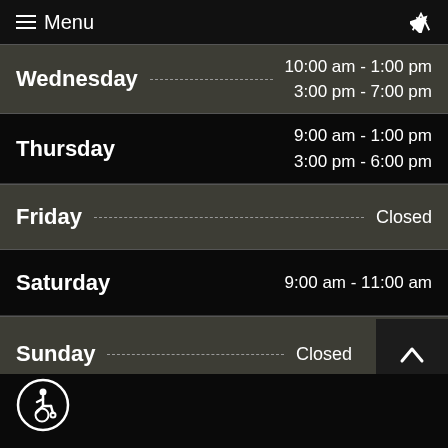Menu
| Day | Hours |
| --- | --- |
| Wednesday | 10:00 am - 1:00 pm
3:00 pm - 7:00 pm |
| Thursday | 9:00 am - 1:00 pm
3:00 pm - 6:00 pm |
| Friday | Closed |
| Saturday | 9:00 am - 11:00 am |
| Sunday | Closed |